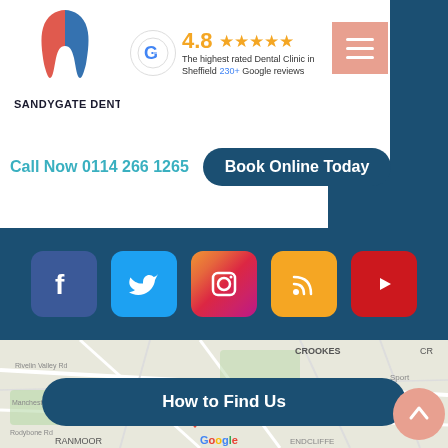[Figure (logo): Sandygate Dental logo — stylized tooth shape in red/blue gradient with text SANDYGATE DENTAL below]
[Figure (infographic): Google G logo circle with 4.8 star rating and text: The highest rated Dental Clinic in Sheffield 230+ Google reviews]
[Figure (infographic): Salmon/pink hamburger menu button (three horizontal white lines)]
Call Now 0114 266 1265
Book Online Today
[Figure (infographic): Social media icon bar on dark blue background: Facebook, Twitter, Instagram, RSS, YouTube icons]
[Figure (map): Google Maps screenshot showing Sheffield area with red pin marker labeled '17 Sandygate Road', showing areas CROOKES, RANMOOR, ENDCLIFFE]
How to Find Us